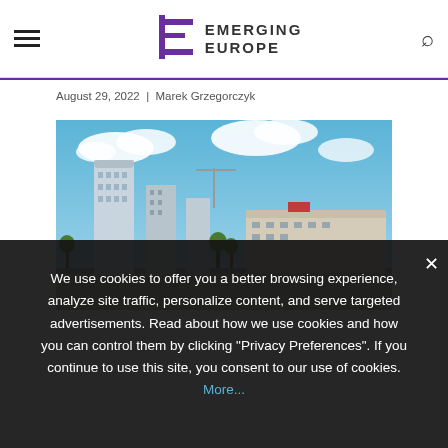Emerging Europe — navigation header with hamburger menu, logo, and search icon
August 29, 2022  |  Marek Grzegorczyk
[Figure (photo): City skyline photograph showing modern high-rise buildings in Warsaw, Poland, with a blue sky and clouds in the background]
We use cookies to offer you a better browsing experience, analyze site traffic, personalize content, and serve targeted advertisements. Read about how we use cookies and how you can control them by clicking "Privacy Preferences". If you continue to use this site, you consent to our use of cookies. More...